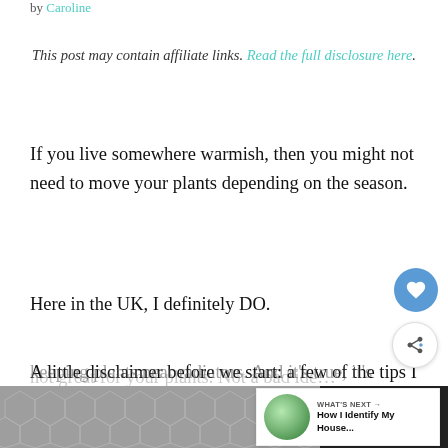by Caroline
This post may contain affiliate links. Read the full disclosure here.
If you live somewhere warmish, then you might not need to move your plants depending on the season.
Here in the UK, I definitely DO.
A little disclaimer before we start: a few of the tips I mention are NOT best practice. keeping plants near radiators. And it's true, it's
not great for your plants. Not a bad ide…
[Figure (other): Bottom advertisement banner with hexagonal pattern and Tidal logo]